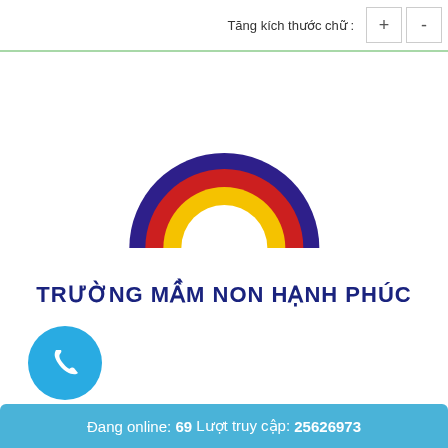Tăng kích thước chữ : + -
[Figure (logo): Rainbow semicircle logo with concentric arcs in dark purple, red, and yellow on white background]
TRƯỜNG MẦM NON HẠNH PHÚC
[Figure (illustration): Blue circular phone button with white telephone handset icon]
Đang online: 69 Lượt truy cập: 25626973